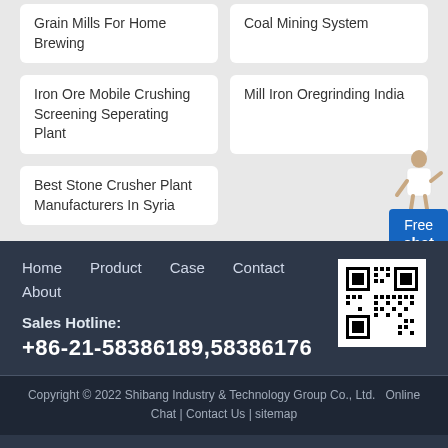Grain Mills For Home Brewing
Coal Mining System
Iron Ore Mobile Crushing Screening Seperating Plant
Mill Iron Oregrinding India
Best Stone Crusher Plant Manufacturers In Syria
Free chat
Home  Product  Case  Contact  About
[Figure (other): QR code for website]
Sales Hotline:
+86-21-58386189,58386176
Copyright © 2022 Shibang Industry & Technology Group Co., Ltd.  Online Chat | Contact Us | sitemap